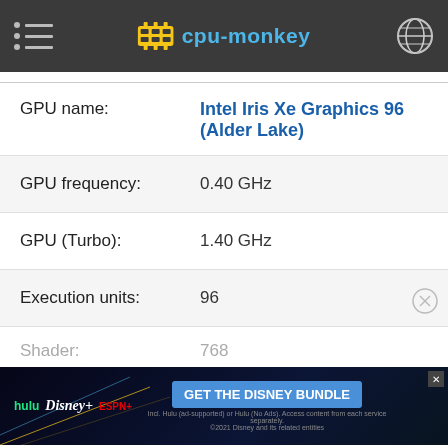cpu-monkey
| Property | Value |
| --- | --- |
| GPU name: | Intel Iris Xe Graphics 96 (Alder Lake) |
| GPU frequency: | 0.40 GHz |
| GPU (Turbo): | 1.40 GHz |
| Execution units: | 96 |
| Shader: | 768 |
[Figure (screenshot): Disney Bundle advertisement banner with Hulu, Disney+, ESPN+ logos and GET THE DISNEY BUNDLE call-to-action button]